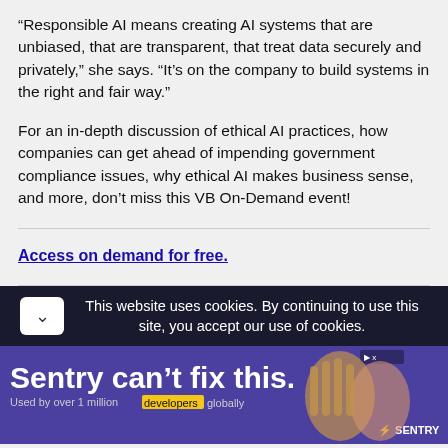“Responsible AI means creating AI systems that are unbiased, that are transparent, that treat data securely and privately,” she says. “It’s on the company to build systems in the right and fair way.”
For an in-depth discussion of ethical AI practices, how companies can get ahead of impending government compliance issues, why ethical AI makes business sense, and more, don’t miss this VB On-Demand event!
Access on demand for free.
This website uses cookies. By continuing to use this site, you accept our use of cookies.
[Figure (infographic): Sentry advertisement banner: purple background with text 'Sentry can’t fix this.' and 'Used by over 1 million developers globally'. Shows hands holding a device.]